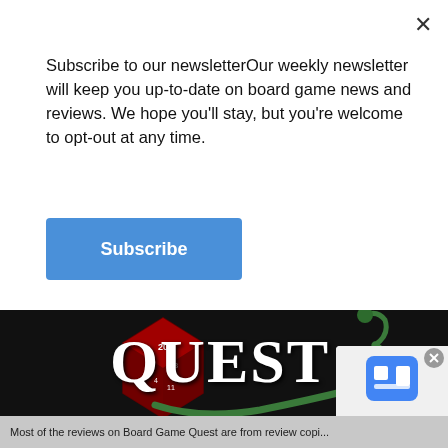Subscribe to our newsletterOur weekly newsletter will keep you up-to-date on board game news and reviews. We hope you'll stay, but you're welcome to opt-out at any time.
Subscribe
[Figure (logo): Board Game Quest logo: large decorative text 'QUEST' with a red polyhedral die and green vine/tendril design on black background]
[Figure (infographic): Social media icons row: Facebook, Instagram, RSS, Twitch, Twitter — white icons on dark background]
Most of the reviews on Board Game Quest are from review copi...
[Figure (other): reCAPTCHA badge with blue robot icon]